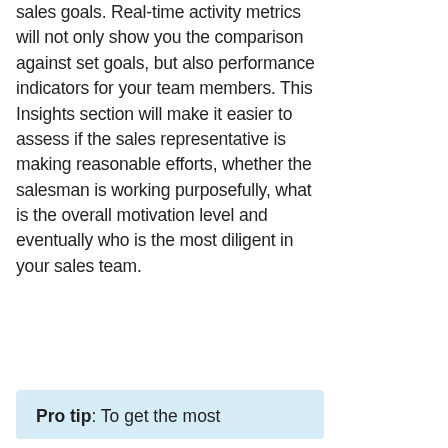sales goals. Real-time activity metrics will not only show you the comparison against set goals, but also performance indicators for your team members. This Insights section will make it easier to assess if the sales representative is making reasonable efforts, whether the salesman is working purposefully, what is the overall motivation level and eventually who is the most diligent in your sales team.
Pro tip: To get the most